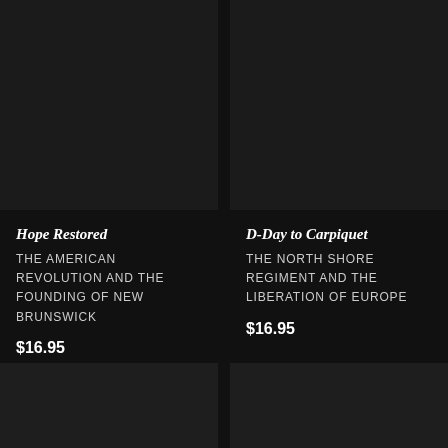[Figure (photo): Dark book cover image placeholder - top left]
[Figure (photo): Dark book cover image placeholder - top right]
Hope Restored
THE AMERICAN REVOLUTION AND THE FOUNDING OF NEW BRUNSWICK
$16.95
D-Day to Carpiquet
THE NORTH SHORE REGIMENT AND THE LIBERATION OF EUROPE
$16.95
[Figure (photo): Dark book cover image placeholder - bottom left]
[Figure (photo): Dark book cover image placeholder - bottom right]